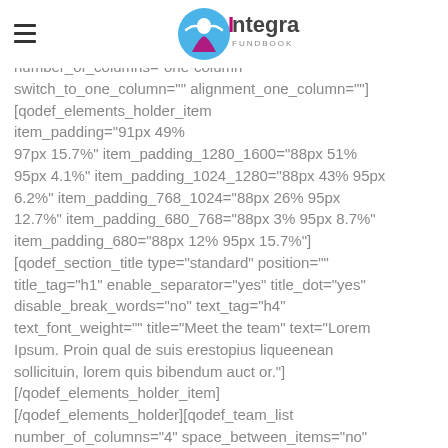Integra (logo)
number_of_columns="one-column" switch_to_one_column="" alignment_one_column=""] [qodef_elements_holder_item item_padding="91px 49% 97px 15.7%" item_padding_1280_1600="88px 51% 95px 4.1%" item_padding_1024_1280="88px 43% 95px 6.2%" item_padding_768_1024="88px 26% 95px 12.7%" item_padding_680_768="88px 3% 95px 8.7%" item_padding_680="88px 12% 95px 15.7%"] [qodef_section_title type="standard" position="" title_tag="h1" enable_separator="yes" title_dot="yes" disable_break_words="no" text_tag="h4" text_font_weight="" title="Meet the team" text="Lorem Ipsum. Proin qual de suis erestopius liqueenean sollicituin, lorem quis bibendum auct or."] [/qodef_elements_holder_item] [/qodef_elements_holder][qodef_team_list number_of_columns="4" space_between_items="no" number_of_items="4" orderby="date" order="ASC" behavior="popup" category="team-3"][/vc_column]